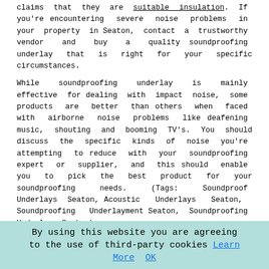claims that they are suitable insulation. If you're encountering severe noise problems in your property in Seaton, contact a trustworthy vendor and buy a quality soundproofing underlay that is right for your specific circumstances.
While soundproofing underlay is mainly effective for dealing with impact noise, some products are better than others when faced with airborne noise problems like deafening music, shouting and booming TV's. You should discuss the specific kinds of noise you're attempting to reduce with your soundproofing expert or supplier, and this should enable you to pick the best product for your soundproofing needs. (Tags: Soundproof Underlays Seaton, Acoustic Underlays Seaton, Soundproofing Underlayment Seaton, Soundproofing Underlay Seaton).
Soundproofing Foam Seaton
I was intrigued to discover just recently that a popular search term typed into Google was "soundproofing foam", and local searches included things like "acoustical foam Seaton" and "soundproofing foam Seaton". That's actually quite worrying, because it suggests that Seaton homeowners are assuming that soundproofing foam is a suitable product
By using this website you are agreeing to the use of third-party cookies Learn More OK